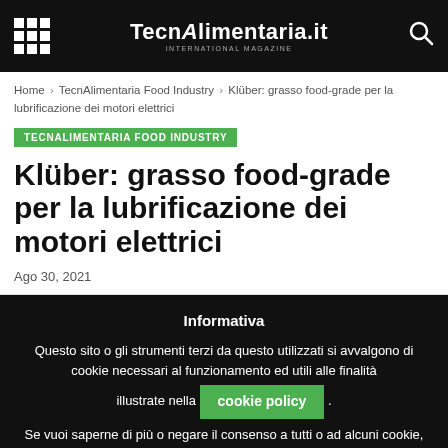TecnAlimentaria.it
Home › TecnAlimentaria Food Industry › Klüber: grasso food-grade per la lubrificazione dei motori elettrici
TECNALIMENTARIA FOOD INDUSTRY
Klüber: grasso food-grade per la lubrificazione dei motori elettrici
Ago 30, 2021
Informativa
Questo sito o gli strumenti terzi da questo utilizzati si avvalgono di cookie necessari al funzionamento ed utili alle finalità illustrate nella cookie policy. Se vuoi saperne di più o negare il consenso a tutti o ad alcuni cookie, consulta la cookie policy. Chiudendo questo banner, scorrendo questa pagina, cliccando su un link o proseguendo la navigazione in altra maniera,